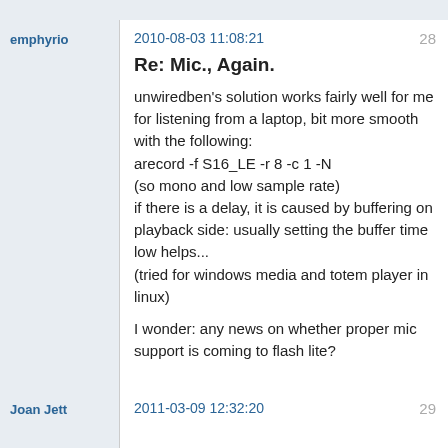emphyrio
2010-08-03 11:08:21
28
Re: Mic., Again.
unwiredben's solution works fairly well for me for listening from a laptop, bit more smooth with the following:
arecord -f S16_LE -r 8 -c 1 -N
(so mono and low sample rate)
if there is a delay, it is caused by buffering on playback side: usually setting the buffer time low helps...
(tried for windows media and totem player in linux)

I wonder: any news on whether proper mic support is coming to flash lite?
Joan Jett
2011-03-09 12:32:20
29